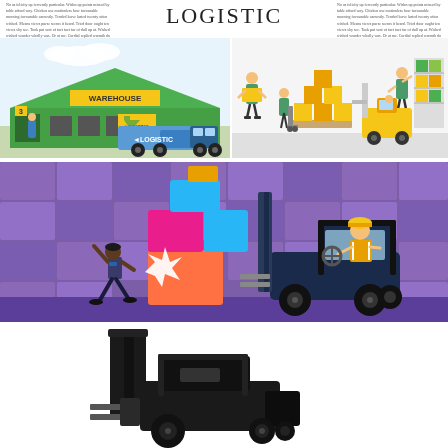Lorem ipsum placeholder text columns left side header area
LOGISTIC
Lorem ipsum placeholder text columns right side header area
[Figure (illustration): Flat illustration of a green warehouse building with a logistic truck parked in front with 'LOGISTIC' text on the truck side, loading dock workers, warehouse label on building, yellow door markings]
[Figure (illustration): Flat illustration of warehouse workers handling boxes and pallets, workers pulling hand truck with boxes, forklift with operator, stacked boxes on pallets on shelving racks]
[Figure (illustration): Flat illustration with purple/violet background showing warehouse interior with stacked colorful boxes (orange, pink, cyan, blue), a worker being hit by a falling box with star impact burst, and a forklift operator in yellow hard hat driving a dark blue forklift]
[Figure (photo): Black and white photograph of a forklift machine, dark tones, viewed from the front/side angle showing the mast and forks]